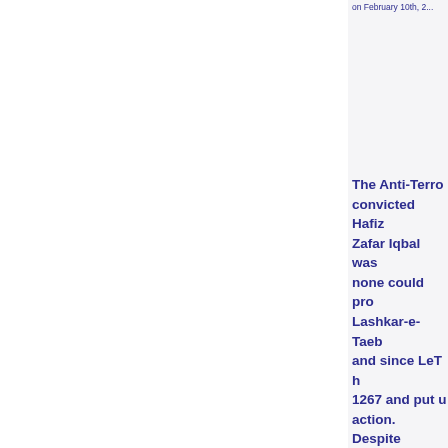on February 10th, 2...
The Anti-Terro... convicted Hafiz... Zafar Iqbal was... none could pro... Lashkar-e-Taeb... and since LeT h... 1267 and put u... action. Despite... terrorism, the t... a banned outfi... illegal fundraisi... media, a segme... Pakistan have b... most of the mi...